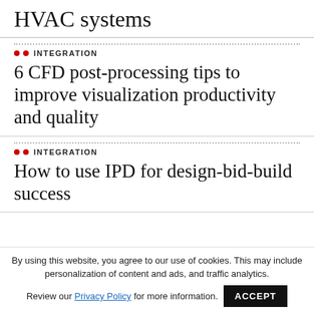HVAC systems
INTEGRATION
6 CFD post-processing tips to improve visualization productivity and quality
INTEGRATION
How to use IPD for design-bid-build success
By using this website, you agree to our use of cookies. This may include personalization of content and ads, and traffic analytics.
Review our Privacy Policy for more information.